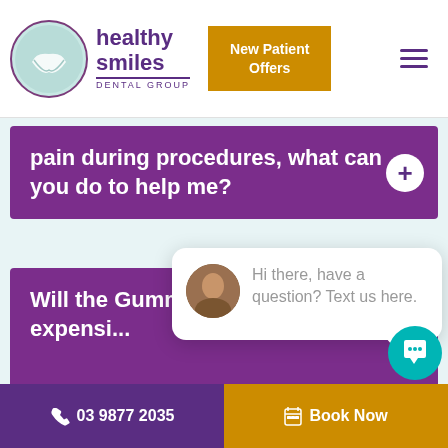[Figure (screenshot): Healthy Smiles Dental Group website header with logo, New Patient Offers button, and hamburger menu]
pain during procedures, what can you do to help me?
Will the Gummy smile correcti... expensi...
close
Hi there, have a question? Text us here.
Will Gummy smile
03 9877 2035   Book Now